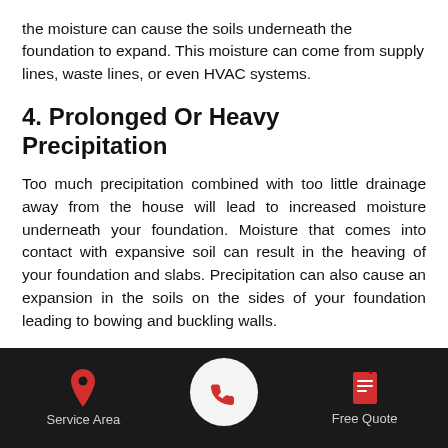the moisture can cause the soils underneath the foundation to expand. This moisture can come from supply lines, waste lines, or even HVAC systems.
4. Prolonged Or Heavy Precipitation
Too much precipitation combined with too little drainage away from the house will lead to increased moisture underneath your foundation. Moisture that comes into contact with expansive soil can result in the heaving of your foundation and slabs. Precipitation can also cause an expansion in the soils on the sides of your foundation leading to bowing and buckling walls.
Before doing any repairs to your foundation, it's important to have the problem officially diagnosed as heaving. The
Service Area | [phone] | Free Quote